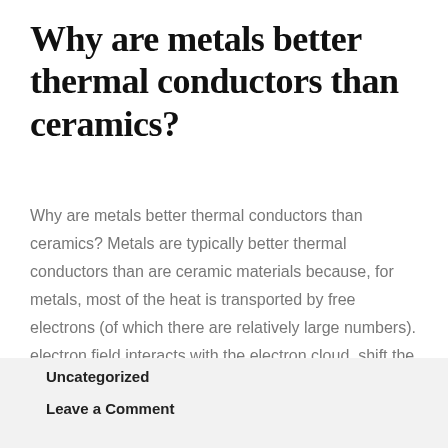Why are metals better thermal conductors than ceramics?
Why are metals better thermal conductors than ceramics? Metals are typically better thermal conductors than are ceramic materials because, for metals, most of the heat is transported by free electrons (of which there are relatively large numbers). electron field interacts with the electron cloud, shift the cloud relative to the nucleus.
Uncategorized
Leave a Comment